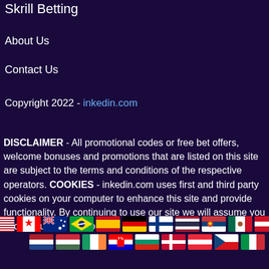Skrill Betting
About Us
Contact Us
Copyright 2022 - inkedin.com
DISCLAIMER - All promotional codes or free bet offers, welcome bonuses and promotions that are listed on this site are subject to the terms and conditions of the respective operators. COOKIES - inkedin.com uses first and third party cookies on your computer to enhance this site and provide functionality. By continuing to use our site we will assume you accept our use of cookies.
[Figure (illustration): Two rows of country flag icons representing various nations]